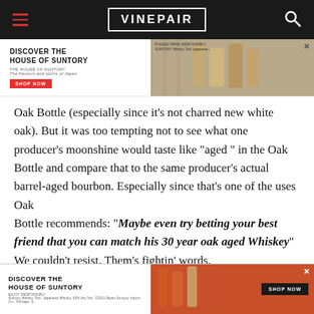VINEPAIR
[Figure (other): Advertisement: Discover the House of Suntory with whisky bottles and Shop Now button]
Oak Bottle (especially since it’s not charred new white oak). But it was too tempting not to see what one producer’s moonshine would taste like “aged” in the Oak Bottle and compare that to the same producer’s actual barrel-aged bourbon. Especially since that’s one of the uses Oak Bottle recommends: “Maybe even try betting your best friend that you can match his 30 year oak aged Whiskey” We couldn’t resist. Them’s fightin’ words.
[Figure (other): Advertisement: Discover the House of Suntory with whisky bottles and Shop Now button (bottom)]